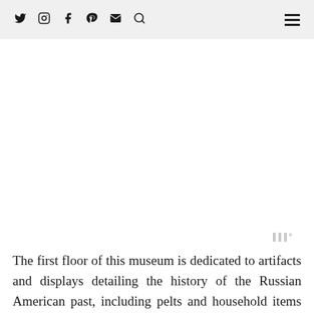Twitter Instagram Facebook Pinterest Email Search [hamburger menu]
[Figure (other): Advertisement or blank white space area below navigation header]
[Figure (other): Small weather widget icon (three vertical bars with degree symbol) in gray]
The first floor of this museum is dedicated to artifacts and displays detailing the history of the Russian American past, including pelts and household items left behind by the Russian settlers and inhabitants of this city. On the second floor, the building has been painstakingly restored